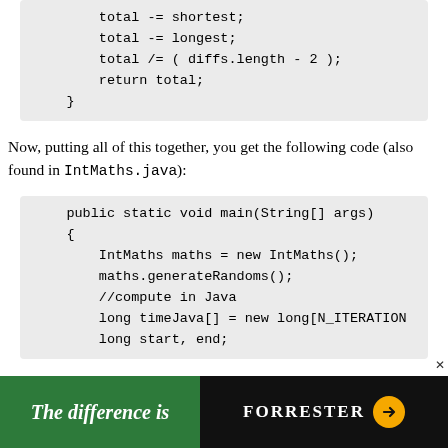total -= shortest;
        total -= longest;
        total /= ( diffs.length - 2 );
        return total;
    }
Now, putting all of this together, you get the following code (also found in IntMaths.java):
public static void main(String[] args)
    {
        IntMaths maths = new IntMaths();
        maths.generateRandoms();
        //compute in Java
        long timeJava[] = new long[N_ITERATION
        long start, end;